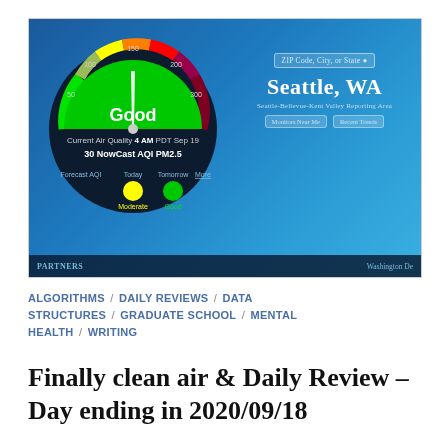[Figure (screenshot): Screenshot of AirNow.gov air quality dashboard showing a gauge dial reading 'Good' with green color, current air quality 4 AM PDT Sep 19, 30 NowCast AQI, PM2.5. Forecast AQI shows Today as Moderate (yellow) and Tomorrow as Good (green). Location shown as Seattle, WA with Seattle-Bellevue-Kent Valley Reporting Area. Bottom bar shows PARTNERS and Washington De[pt] text.]
ALGORITHMS / DAILY REVIEWS / DATA STRUCTURES / GRADUATE SCHOOL / MENTAL HEALTH / WRITING
Finally clean air & Daily Review – Day ending in 2020/09/18